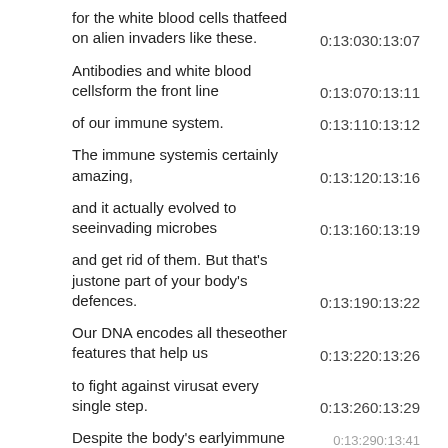for the white blood cells thatfeed on alien invaders like these.
Antibodies and white blood cellsform the front line
of our immune system.
The immune systemis certainly amazing,
and it actually evolved to seeinvading microbes
and get rid of them. But that's justone part of your body's defences.
Our DNA encodes all theseother features that help us
to fight against virusat every single step.
Despite the body's earlyimmune